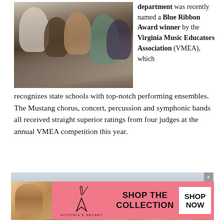[Figure (photo): Students seated in a classroom or auditorium, with people appearing to listen or attend a session; diverse group of students visible.]
department was recently named a Blue Ribbon Award winner by the Virginia Music Educators Association (VMEA), which recognizes state schools with top-notch performing ensembles. The Mustang chorus, concert, percussion and symphonic bands all received straight superior ratings from four judges at the annual VMEA competition this year.
[Figure (photo): Interior photo of what appears to be a school library or classroom with bookshelves visible along the bottom, and an infolinks badge overlay.]
[Figure (infographic): Victoria's Secret advertisement banner with pink background, VS logo, text reading SHOP THE COLLECTION, and a SHOP NOW button.]